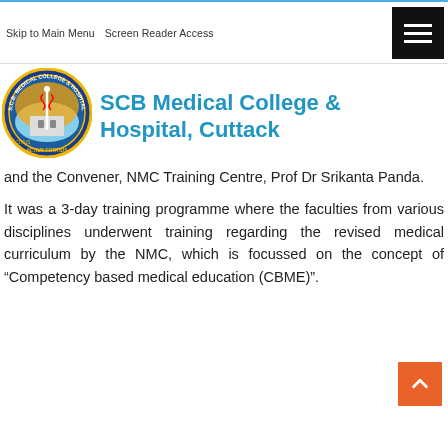Skip to Main Menu   Screen Reader Access
SCB Medical College & Hospital, Cuttack
and the Convener, NMC Training Centre, Prof Dr Srikanta Panda.
It was a 3-day training programme where the faculties from various disciplines underwent training regarding the revised medical curriculum by the NMC, which is focussed on the concept of “Competency based medical education (CBME)”.